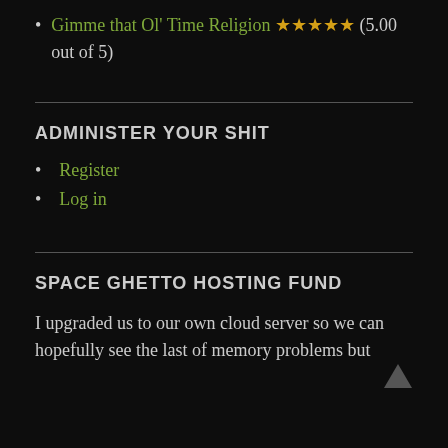Gimme that Ol’ Time Religion ★★★★★ (5.00 out of 5)
ADMINISTER YOUR SHIT
Register
Log in
SPACE GHETTO HOSTING FUND
I upgraded us to our own cloud server so we can hopefully see the last of memory problems but